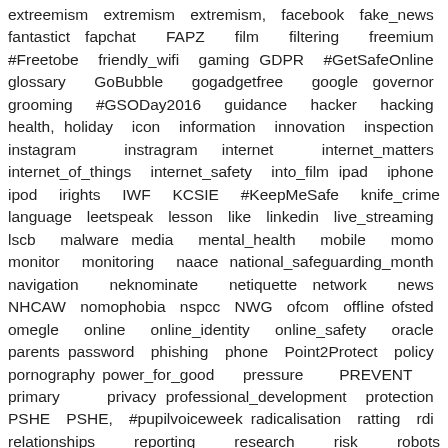extreemism extremism extremism, facebook fake_news fantastict fapchat FAPZ film filtering freemium #Freetobe friendly_wifi gaming GDPR #GetSafeOnline glossary GoBubble gogadgetfree google governor grooming #GSODay2016 guidance hacker hacking health, holiday icon information innovation inspection instagram instragram internet internet_matters internet_of_things internet_safety into_film ipad iphone ipod irights IWF KCSIE #KeepMeSafe knife_crime language leetspeak lesson like linkedin live_streaming lscb malware media mental_health mobile momo monitor monitoring naace national_safeguarding_month navigation neknominate netiquette network news NHCAW nomophobia nspcc NWG ofcom offline ofsted omegle online online_identity online_safety oracle parents password phishing phone Point2Protect policy pornography power_for_good pressure PREVENT primary privacy professional_development protection PSHE PSHE, #pupilvoiceweek radicalisation ratting rdi relationships reporting research risk robots rocketlearn RSE RSPH safeguarding safeguarding, safer_internet_day safety SCD2015 #SCD2016 school screen_time sdfsdf security self-harm selfie sexting sextortion ShareAware sid SID SID2016 SID2017 SID2018 SID2019 SID2020 smartphone snapchat snappening social_media social_media, social_networking staff staff_training #standuptobullying statutory_guidance Stop_CSE stop_cyberbullying_day stress students survey swgfl SWGfL tablet